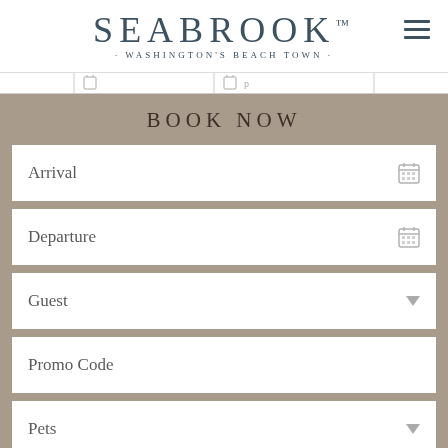[Figure (logo): Seabrook Washington's Beach Town logo with hamburger menu icon]
[Figure (screenshot): Partial navigation bar with icons and separators]
BOOK NOW
Arrival
Departure
Guest
Promo Code
Pets
W  l  c    S  a  b  r  k    O  t  g    T  A  i  t